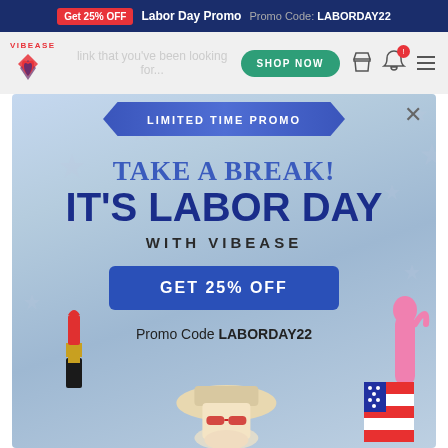Get 25% OFF  Labor Day Promo  Promo Code: LABORDAY22
[Figure (screenshot): Vibease website navigation bar with logo, SHOP NOW button, cart, bell, and menu icons]
[Figure (infographic): Labor Day promotional popup modal with LIMITED TIME PROMO banner, TAKE A BREAK! IT'S LABOR DAY WITH VIBEASE headline, GET 25% OFF button, Promo Code LABORDAY22, lipstick illustration, pink vibrator illustration, woman in hat, American flag decoration. Background is light blue with American flag stars.]